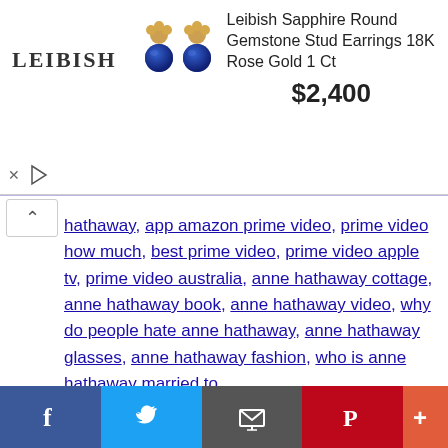[Figure (screenshot): Leibish jewelry advertisement banner with rose gold sapphire stud earrings, logo text 'LEIBISH', title 'Leibish Sapphire Round Gemstone Stud Earrings 18K Rose Gold 1 Ct', price '$2,400', and ad controls (X and play button)]
hathaway, app amazon prime video, prime video how much, best prime video, prime video apple tv, prime video australia, anne hathaway cottage, anne hathaway book, anne hathaway video, why do people hate anne hathaway, anne hathaway glasses, anne hathaway fashion, who is anne hathaway married to
[Figure (screenshot): Social media share buttons bar at bottom: Facebook (dark blue), Twitter (light blue), Email (gray), Pinterest (red), More (orange-red)]